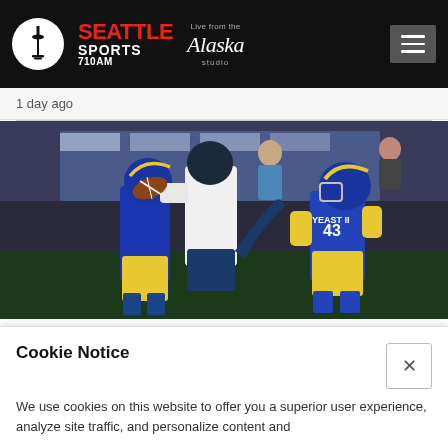[Figure (logo): Seattle Sports 710AM logo with Space Needle icon in white circle, red Seattle text, white SPORTS text, and Alaska Airlines 'Live from the Alaska studio' branding]
1 day ago
[Figure (photo): NFL football game action photo showing a Seahawks receiver catching the ball contested by a Los Angeles Rams defender, with player #43 YEAST II visible in Rams blue and gold uniform]
Cookie Notice
We use cookies on this website to offer you a superior user experience, analyze site traffic, and personalize content and